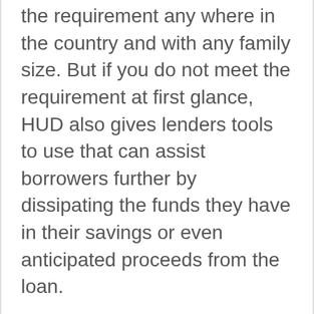the requirement any where in the country and with any family size. But if you do not meet the requirement at first glance, HUD also gives lenders tools to use that can assist borrowers further by dissipating the funds they have in their savings or even anticipated proceeds from the loan.
If all else fails, borrowers can also often still achieve approval by use of a Life Expectancy Set Aside (LESA) whereby funds are set aside from the loan to pay the taxes and insurance for the expected life of the borrower.
It is not hard to see if you meet the residual income requirement for your